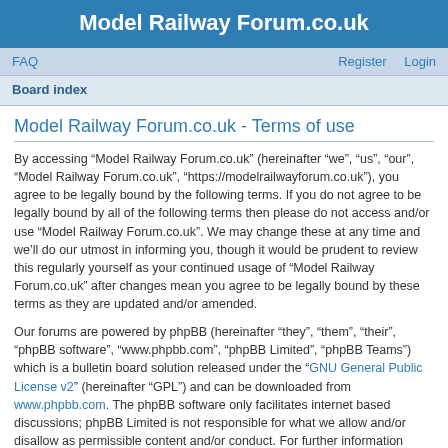Model Railway Forum.co.uk
FAQ  Register  Login
Board index
Model Railway Forum.co.uk - Terms of use
By accessing “Model Railway Forum.co.uk” (hereinafter “we”, “us”, “our”, “Model Railway Forum.co.uk”, “https://modelrailwayforum.co.uk”), you agree to be legally bound by the following terms. If you do not agree to be legally bound by all of the following terms then please do not access and/or use “Model Railway Forum.co.uk”. We may change these at any time and we’ll do our utmost in informing you, though it would be prudent to review this regularly yourself as your continued usage of “Model Railway Forum.co.uk” after changes mean you agree to be legally bound by these terms as they are updated and/or amended.
Our forums are powered by phpBB (hereinafter “they”, “them”, “their”, “phpBB software”, “www.phpbb.com”, “phpBB Limited”, “phpBB Teams”) which is a bulletin board solution released under the “GNU General Public License v2” (hereinafter “GPL”) and can be downloaded from www.phpbb.com. The phpBB software only facilitates internet based discussions; phpBB Limited is not responsible for what we allow and/or disallow as permissible content and/or conduct. For further information about phpBB, please see: https://www.phpbb.com/.